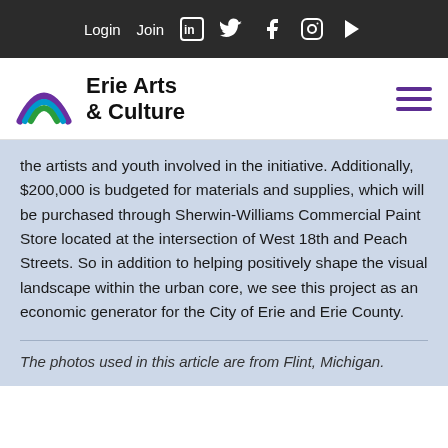Login  Join  [LinkedIn] [Twitter] [Facebook] [Instagram] [YouTube]
[Figure (logo): Erie Arts & Culture logo with colorful arc icon and bold text]
the artists and youth involved in the initiative. Additionally, $200,000 is budgeted for materials and supplies, which will be purchased through Sherwin-Williams Commercial Paint Store located at the intersection of West 18th and Peach Streets. So in addition to helping positively shape the visual landscape within the urban core, we see this project as an economic generator for the City of Erie and Erie County.
The photos used in this article are from Flint, Michigan.